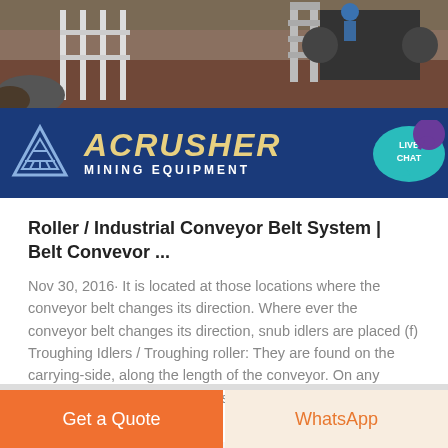[Figure (photo): Photo of a mining crusher machine at a construction/mining site with exposed earth and scaffolding, with an ACRUSHER MINING EQUIPMENT blue banner sign overlaid at the bottom of the image, featuring a triangular logo. A teal 'LIVE CHAT' speech bubble icon appears at the top right.]
Roller / Industrial Conveyor Belt System | Belt Conveyor ...
Nov 30, 2016· It is located at those locations where the conveyor belt changes its direction. Where ever the conveyor belt changes its direction, snub idlers are placed (f) Troughing Idlers / Troughing roller: They are found on the carrying-side, along the length of the conveyor. On any particular conveyor these idlers are identical, as are the bases.
Get a Quote   WhatsApp